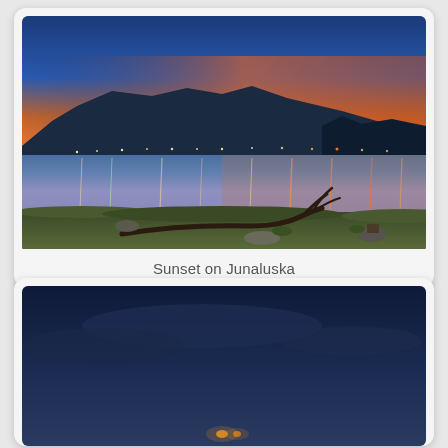[Figure (photo): Landscape photograph of a lake at sunset/dusk. Mountains silhouetted against an orange and blue sky. City lights and their reflections are visible on the still water. A fallen tree branch lies in the foreground on a grassy shore.]
Sunset on Junaluska
[Figure (photo): Nighttime or dusk photograph showing a dark blue sky with faint clouds. Small lights visible near the bottom center of the image, suggesting a distant building or structure.]